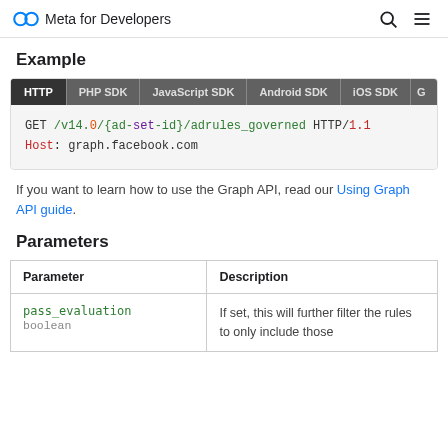Meta for Developers
Example
[Figure (screenshot): Code example block with tabs: HTTP (active), PHP SDK, JavaScript SDK, Android SDK, iOS SDK, G... showing HTTP GET request: GET /v14.0/{ad-set-id}/adrules_governed HTTP/1.1 Host: graph.facebook.com]
If you want to learn how to use the Graph API, read our Using Graph API guide.
Parameters
| Parameter | Description |
| --- | --- |
| pass_evaluation
boolean | If set, this will further filter the rules to only include those |